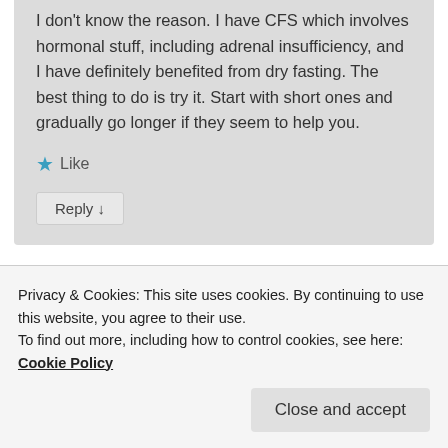I don't know the reason. I have CFS which involves hormonal stuff, including adrenal insufficiency, and I have definitely benefited from dry fasting. The best thing to do is try it. Start with short ones and gradually go longer if they seem to help you.
★ Like
Reply ↓
mouth to cough out on the tissue, some yoga
Privacy & Cookies: This site uses cookies. By continuing to use this website, you agree to their use.
To find out more, including how to control cookies, see here: Cookie Policy
Close and accept